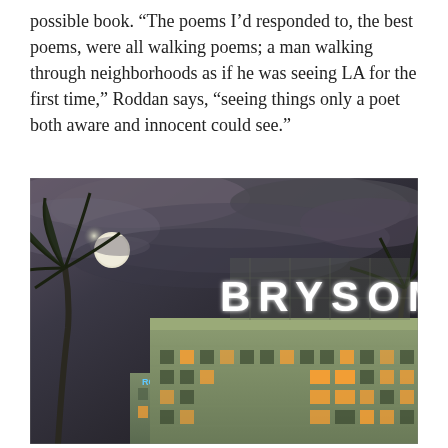possible book. “The poems I’d responded to, the best poems, were all walking poems; a man walking through neighborhoods as if he was seeing LA for the first time,” Roddan says, “seeing things only a poet both aware and innocent could see.”
[Figure (photo): Nighttime photo of the Bryson building in Los Angeles. Large illuminated white letters spelling BRYSON sit on the rooftop against a dramatic dark cloudy sky with a full moon visible through the clouds. Palm trees frame the left side. A smaller neon sign reading ROYALE is visible on an adjacent smaller building to the lower left. The main building is pale green with lit windows.]